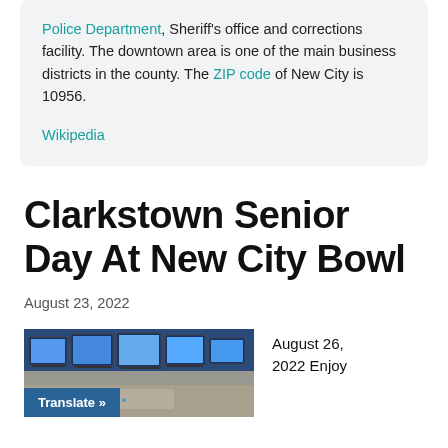Police Department, Sheriff's office and corrections facility. The downtown area is one of the main business districts in the county. The ZIP code of New City is 10956.
Wikipedia
Clarkstown Senior Day At New City Bowl
August 23, 2022
[Figure (photo): Photo of bowling alley monitors/screens above lanes with a blue Translate button overlay in the lower left]
August 26, 2022 Enjoy